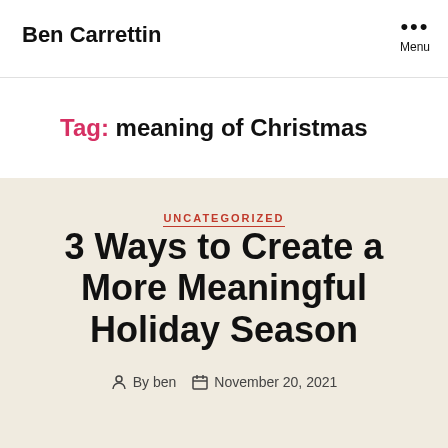Ben Carrettin
Tag: meaning of Christmas
UNCATEGORIZED
3 Ways to Create a More Meaningful Holiday Season
By ben  November 20, 2021